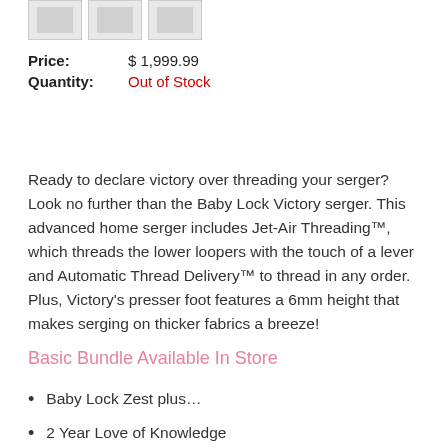[Figure (photo): Three small product thumbnail images of the Baby Lock Victory serger]
Price:    $ 1,999.99
Quantity:  Out of Stock
Ready to declare victory over threading your serger? Look no further than the Baby Lock Victory serger. This advanced home serger includes Jet-Air Threading™, which threads the lower loopers with the touch of a lever and Automatic Thread Delivery™ to thread in any order. Plus, Victory's presser foot features a 6mm height that makes serging on thicker fabrics a breeze!
Basic Bundle Available In Store
Baby Lock Zest plus…
2 Year Love of Knowledge